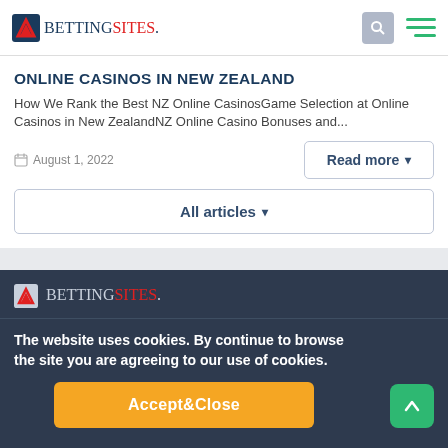BETTINGSITES.
ONLINE CASINOS IN NEW ZEALAND
How We Rank the Best NZ Online CasinosGame Selection at Online Casinos in New ZealandNZ Online Casino Bonuses and...
August 1, 2022
Read more
All articles
[Figure (logo): BettingSites logo in footer dark bar]
The website uses cookies. By continue to browse the site you are agreeing to our use of cookies.
Accept&Close